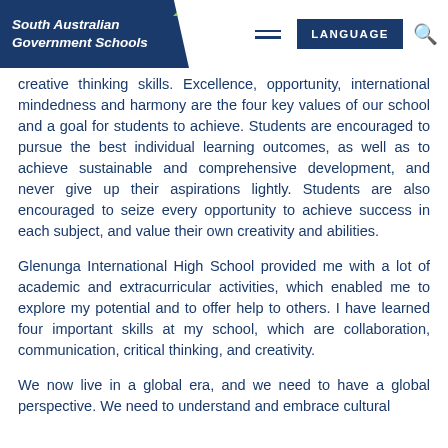South Australian Government Schools | LANGUAGE
creative thinking skills. Excellence, opportunity, international mindedness and harmony are the four key values of our school and a goal for students to achieve. Students are encouraged to pursue the best individual learning outcomes, as well as to achieve sustainable and comprehensive development, and never give up their aspirations lightly. Students are also encouraged to seize every opportunity to achieve success in each subject, and value their own creativity and abilities.
Glenunga International High School provided me with a lot of academic and extracurricular activities, which enabled me to explore my potential and to offer help to others. I have learned four important skills at my school, which are collaboration, communication, critical thinking, and creativity.
We now live in a global era, and we need to have a global perspective. We need to understand and embrace cultural